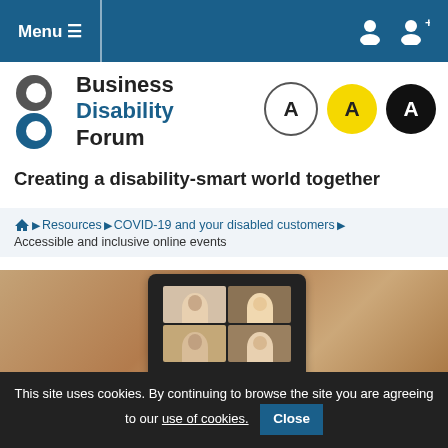Menu ≡
[Figure (logo): Business Disability Forum logo with stylized B shape and text 'Business Disability Forum']
[Figure (infographic): Three circle buttons with letter A: white/outline, yellow fill, black fill — accessibility text size controls]
Creating a disability-smart world together
Home > Resources > COVID-19 and your disabled customers > Accessible and inclusive online events
[Figure (photo): Tablet screen showing a video conference call with four participants in a 2x2 grid layout, set against a blurred indoor background]
This site uses cookies. By continuing to browse the site you are agreeing to our use of cookies. Close